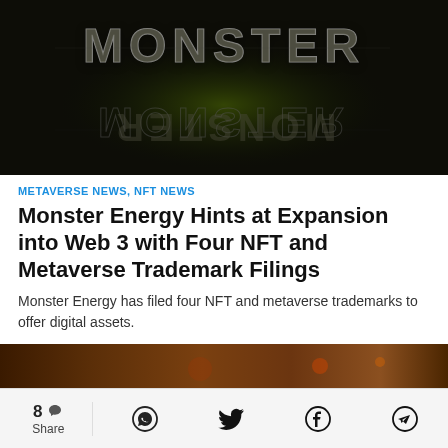[Figure (photo): Dark background with Monster Energy logo text rendered in metallic 3D style, reflected/mirrored, greenish glow in center]
METAVERSE NEWS, NFT NEWS
Monster Energy Hints at Expansion into Web 3 with Four NFT and Metaverse Trademark Filings
Monster Energy has filed four NFT and metaverse trademarks to offer digital assets.
Cindy Tan
February 24, 2022
[Figure (photo): Partial strip of the next article's hero image, brownish warm tones]
8 Share [WhatsApp] [Twitter] [Facebook] [Telegram]